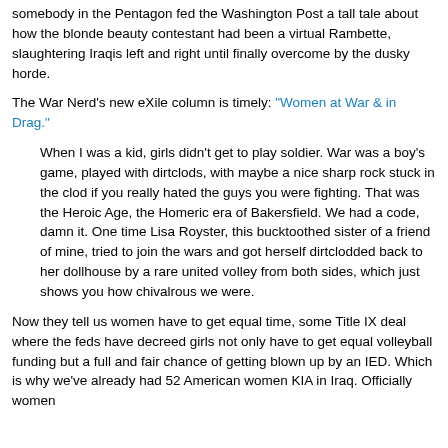somebody in the Pentagon fed the Washington Post a tall tale about how the blonde beauty contestant had been a virtual Rambette, slaughtering Iraqis left and right until finally overcome by the dusky horde.
The War Nerd's new eXile column is timely: "Women at War & in Drag."
When I was a kid, girls didn't get to play soldier. War was a boy's game, played with dirtclods, with maybe a nice sharp rock stuck in the clod if you really hated the guys you were fighting. That was the Heroic Age, the Homeric era of Bakersfield. We had a code, damn it. One time Lisa Royster, this bucktoothed sister of a friend of mine, tried to join the wars and got herself dirtclodded back to her dollhouse by a rare united volley from both sides, which just shows you how chivalrous we were.
Now they tell us women have to get equal time, some Title IX deal where the feds have decreed girls not only have to get equal volleyball funding but a full and fair chance of getting blown up by an IED. Which is why we've already had 52 American women KIA in Iraq. Officially women aren't supposed to be in frontline combat, but it's like front...